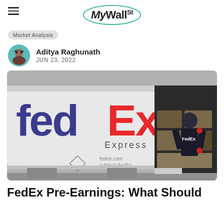MyWallSt
Market Analysis
Aditya Raghunath
JUN 23, 2022
[Figure (photo): A FedEx Express delivery truck with its back open, a FedEx worker loading or unloading packages]
FedEx Pre-Earnings: What Should